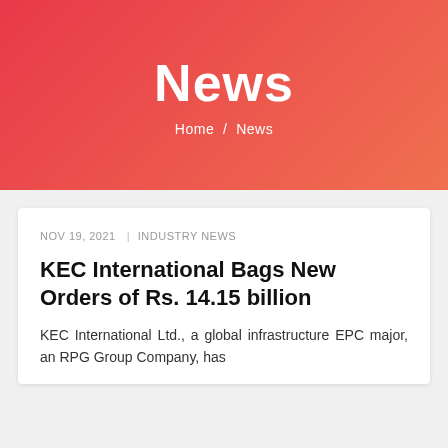News
Home / News
NOV 19, 2021  | INDUSTRY NEWS
KEC International Bags New Orders of Rs. 14.15 billion
KEC International Ltd., a global infrastructure EPC major, an RPG Group Company, has